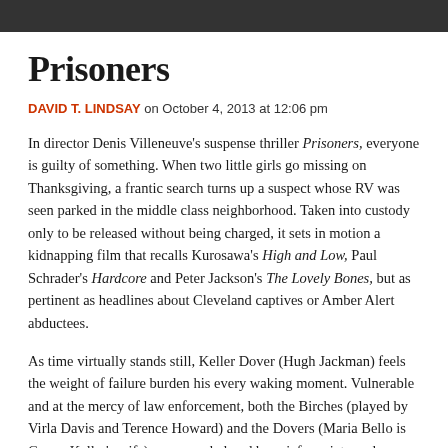[Figure (photo): Dark photograph strip at the top of the page]
Prisoners
DAVID T. LINDSAY on October 4, 2013 at 12:06 pm
In director Denis Villeneuve's suspense thriller Prisoners, everyone is guilty of something. When two little girls go missing on Thanksgiving, a frantic search turns up a suspect whose RV was seen parked in the middle class neighborhood. Taken into custody only to be released without being charged, it sets in motion a kidnapping film that recalls Kurosawa's High and Low, Paul Schrader's Hardcore and Peter Jackson's The Lovely Bones, but as pertinent as headlines about Cleveland captives or Amber Alert abductees.
As time virtually stands still, Keller Dover (Hugh Jackman) feels the weight of failure burden his every waking moment. Vulnerable and at the mercy of law enforcement, both the Birches (played by Virla Davis and Terence Howard) and the Dovers (Maria Bello is Grace, Keller's wife) are overwhelmed by grief, anxiety and a barrage of questions from the lead investigator, played by Jake Gyllenhaal.